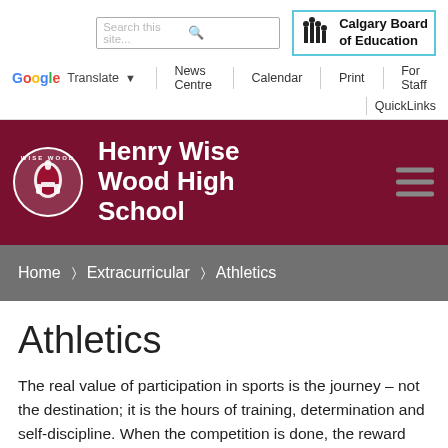Search this site... | Calgary Board of Education
Google Translate | News Centre | Calendar | Print | For Staff | QuickLinks
[Figure (logo): Henry Wise Wood High School logo with Spartan helmet and school name on dark red banner]
Home > Extracurricular > Athletics
Athletics
The real value of participation in sports is the journey – not the destination; it is the hours of training, determination and self-discipline. When the competition is done, the reward left behind is the character you build forever